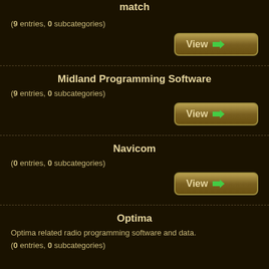match
(9 entries, 0 subcategories)
Midland Programming Software
(9 entries, 0 subcategories)
Navicom
(0 entries, 0 subcategories)
Optima
Optima related radio programming software and data.
(0 entries, 0 subcategories)